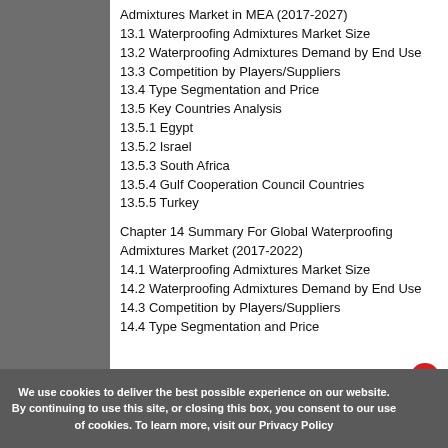Admixtures Market in MEA (2017-2027)
13.1 Waterproofing Admixtures Market Size
13.2 Waterproofing Admixtures Demand by End Use
13.3 Competition by Players/Suppliers
13.4 Type Segmentation and Price
13.5 Key Countries Analysis
13.5.1 Egypt
13.5.2 Israel
13.5.3 South Africa
13.5.4 Gulf Cooperation Council Countries
13.5.5 Turkey
Chapter 14 Summary For Global Waterproofing Admixtures Market (2017-2022)
14.1 Waterproofing Admixtures Market Size
14.2 Waterproofing Admixtures Demand by End Use
14.3 Competition by Players/Suppliers
14.4 Type Segmentation and Price
We use cookies to deliver the best possible experience on our website. By continuing to use this site, or closing this box, you consent to our use of cookies. To learn more, visit our Privacy Policy